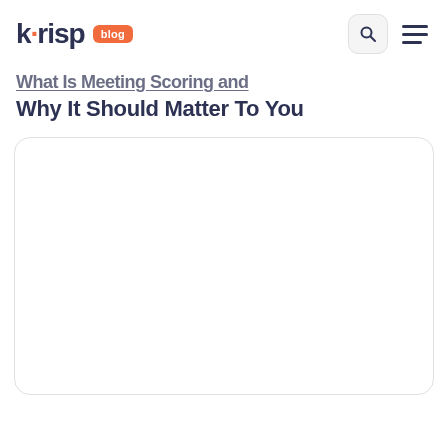krisp blog
What Is Meeting Scoring and Why It Should Matter To You
[Figure (illustration): Large white rounded rectangle card placeholder for a featured blog post image]